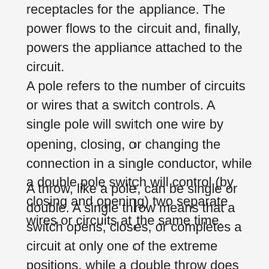receptacles for the appliance. The power flows to the circuit and, finally, powers the appliance attached to the circuit.
A pole refers to the number of circuits or wires that a switch controls. A single pole will switch one wire by opening, closing, or changing the connection in a single conductor, while a double pole switch will control (by closing and opening) two separate wires or circuits at the same time.
A throw, like a pole, can be single or double. A single throw means that a switch opens, closes, or completes a circuit at only one of the extreme positions, while a double throw does the same thing as the single throw, except that it completes a circuit at both positions of its actuator.